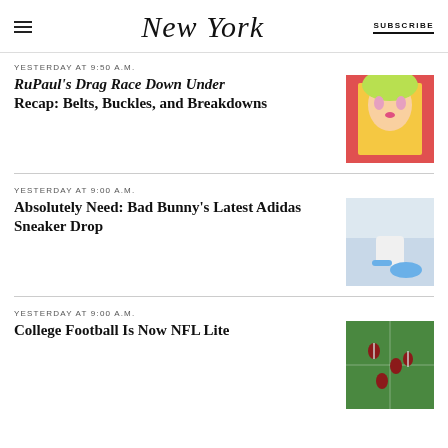New York | SUBSCRIBE
YESTERDAY AT 9:50 A.M.
RuPaul's Drag Race Down Under Recap: Belts, Buckles, and Breakdowns
[Figure (photo): Drag queen with blonde hair and green outfit]
YESTERDAY AT 9:00 A.M.
Absolutely Need: Bad Bunny's Latest Adidas Sneaker Drop
[Figure (photo): Person sitting wearing blue sneakers]
YESTERDAY AT 9:00 A.M.
College Football Is Now NFL Lite
[Figure (photo): Football players on green field]